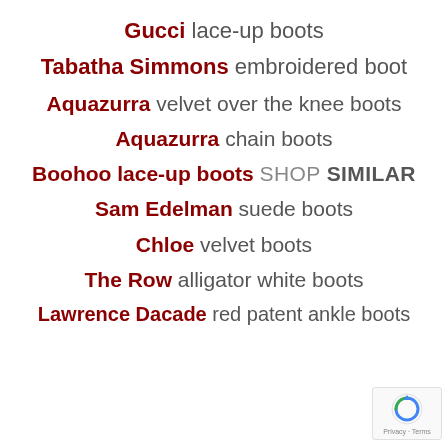Gucci lace-up boots
Tabatha Simmons embroidered boot
Aquazurra velvet over the knee boots
Aquazurra chain boots
Boohoo lace-up boots SHOP SIMILAR
Sam Edelman suede boots
Chloe velvet boots
The Row alligator white boots
Lawrence Dacade red patent ankle boots